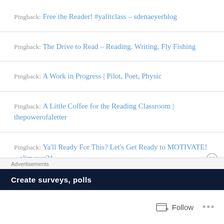Pingback: Free the Reader! #yalitclass – sdenaeyerblog
Pingback: The Drive to Read – Reading. Writing. Fly Fishing
Pingback: A Work in Progress | Pilot, Poet, Physic
Pingback: A Little Coffee for the Reading Classroom | thepowerofaletter
Pingback: Ya'll Ready For This? Let's Get Ready to MOTIVATE! – alimeyer21
Advertisements
Create surveys, polls
Follow